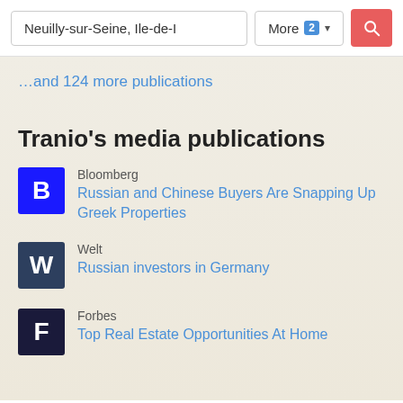[Figure (screenshot): Search bar UI with text 'Neuilly-sur-Seine, Ile-de-I', a 'More 2' filter button, and a red search icon button]
…and 124 more publications
Tranio's media publications
Bloomberg — Russian and Chinese Buyers Are Snapping Up Greek Properties
Welt — Russian investors in Germany
Forbes — Top Real Estate Opportunities At Home